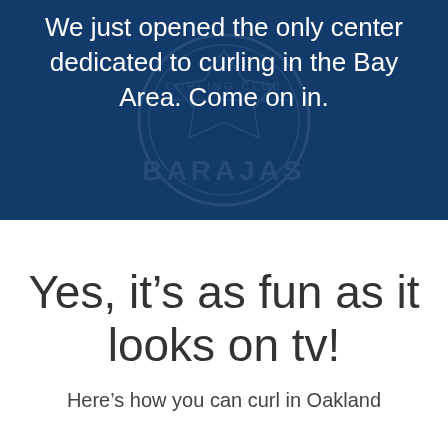[Figure (photo): Dark navy blue background with a faded circular curling club logo watermark (shield/crest with text 'CURLING CLUB') and the text 'BARAJAS' in lighter navy lettering. The section contains white text at the top reading 'We just opened the only center dedicated to curling in the Bay Area. Come on in.']
We just opened the only center dedicated to curling in the Bay Area. Come on in.
Yes, it's as fun as it looks on tv!
Here's how you can curl in Oakland